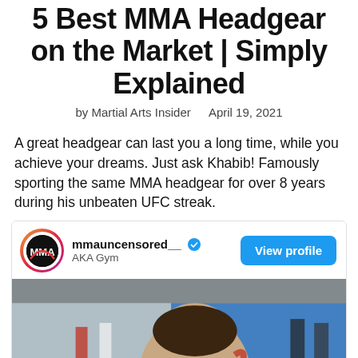5 Best MMA Headgear on the Market | Simply Explained
by Martial Arts Insider   April 19, 2021
A great headgear can last you a long time, while you achieve your dreams. Just ask Khabib! Famously sporting the same MMA headgear for over 8 years during his unbeaten UFC streak.
[Figure (screenshot): Embedded social media post from Instagram account mmauncensored__ (AKA Gym, verified) with a View profile button and a photo of a fighter in a gym during training.]